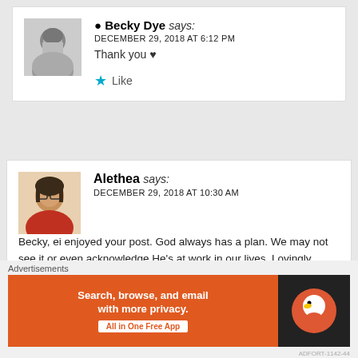REPLY
[Figure (photo): Black and white photo of Becky Dye, a smiling woman with blonde hair]
Becky Dye says:
DECEMBER 29, 2018 AT 6:12 PM
Thank you ♥
★ Like
REPLY
[Figure (photo): Color photo of Alethea, a woman with glasses and dark hair wearing a red top]
Alethea says:
DECEMBER 29, 2018 AT 10:30 AM
Becky, ei enjoyed your post. God always has a plan. We may not see it or even acknowledge He's at work in our lives. Lovingly allowing us to make a mess, but always present helping us understand the messiness and draw us closer to Him. My motto from St. Faustina, "Jesus, I trust in you!" Perfect in
Advertisements
[Figure (screenshot): DuckDuckGo advertisement banner: orange left panel with 'Search, browse, and email with more privacy. All in One Free App' text, dark right panel with DuckDuckGo logo]